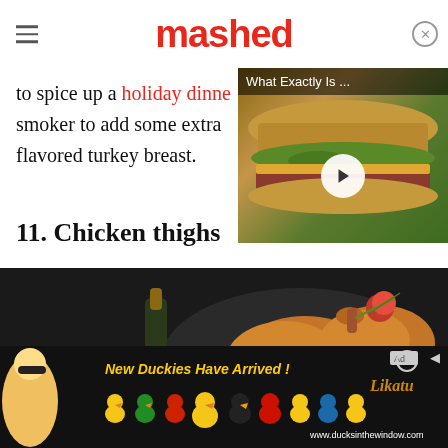mashed
to spice up a holiday dinner smoker to add some extra flavored turkey breast.
[Figure (screenshot): Video thumbnail showing a sandwich/sub with label 'What Exactly Is ...' and a play button]
11. Chicken thighs
[Figure (photo): Dark styled food photography showing roasted chicken thighs on a black plate with tomatoes, herbs, and an oil bottle on a dark stone surface]
[Figure (photo): Advertisement banner: 'New Duckies Have Arrived!' showing colorful rubber ducks including Batman, angry bird, and others with website www.ducksinthewindow.com and Likatu branding]